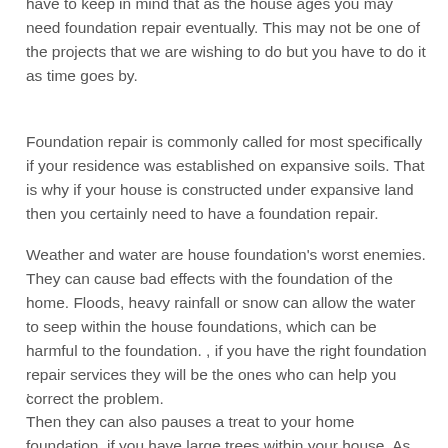have to keep in mind that as the house ages you may need foundation repair eventually. This may not be one of the projects that we are wishing to do but you have to do it as time goes by.
Foundation repair is commonly called for most specifically if your residence was established on expansive soils. That is why if your house is constructed under expansive land then you certainly need to have a foundation repair.
Weather and water are house foundation's worst enemies. They can cause bad effects with the foundation of the home. Floods, heavy rainfall or snow can allow the water to seep within the house foundations, which can be harmful to the foundation. , if you have the right foundation repair services they will be the ones who can help you correct the problem.
:
Then they can also pauses a treat to your home foundation, if you have large trees within your house. As the tree grows, the roots